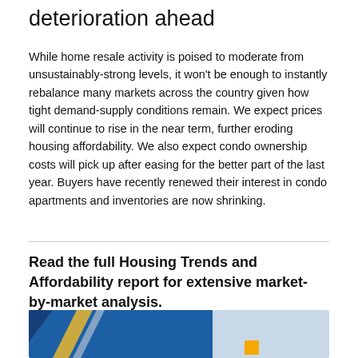deterioration ahead
While home resale activity is poised to moderate from unsustainably-strong levels, it won't be enough to instantly rebalance many markets across the country given how tight demand-supply conditions remain. We expect prices will continue to rise in the near term, further eroding housing affordability. We also expect condo ownership costs will pick up after easing for the better part of the last year. Buyers have recently renewed their interest in condo apartments and inventories are now shrinking.
Read the full Housing Trends and Affordability report for extensive market-by-market analysis.
[Figure (photo): Partial photo showing blue, yellow/gold, and grey/white abstract shapes, likely a book or report cover image]